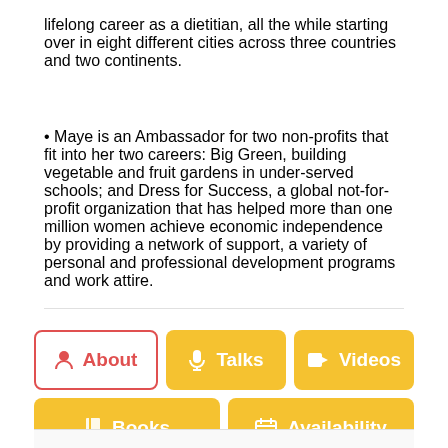lifelong career as a dietitian, all the while starting over in eight different cities across three countries and two continents.
• Maye is an Ambassador for two non-profits that fit into her two careers: Big Green, building vegetable and fruit gardens in under-served schools; and Dress for Success, a global not-for-profit organization that has helped more than one million women achieve economic independence by providing a network of support, a variety of personal and professional development programs and work attire.
[Figure (other): Navigation tab bar with five buttons: About (active, white with red border and red text/icon), Talks (yellow), Videos (yellow), Books (yellow), Availability (yellow)]